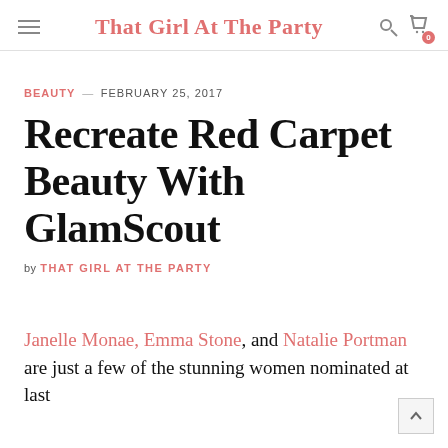That Girl At The Party
BEAUTY — FEBRUARY 25, 2017
Recreate Red Carpet Beauty With GlamScout
by THAT GIRL AT THE PARTY
Janelle Monae, Emma Stone, and Natalie Portman are just a few of the stunning women nominated at last